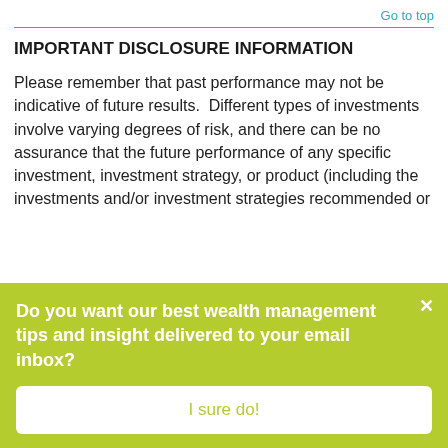Go to top
IMPORTANT DISCLOSURE INFORMATION
Please remember that past performance may not be indicative of future results.  Different types of investments involve varying degrees of risk, and there can be no assurance that the future performance of any specific investment, investment strategy, or product (including the investments and/or investment strategies recommended or
Do you want our best wealth management tips and insight delivered to your email inbox?
I sure do!